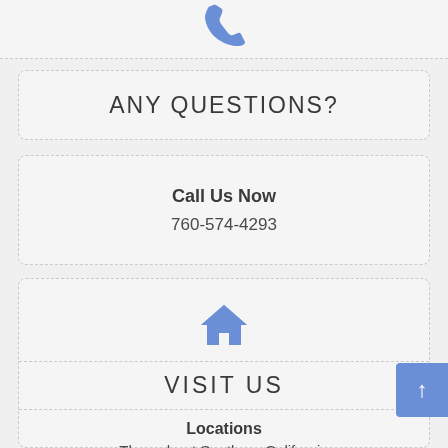[Figure (illustration): Phone icon (blue telephone handset) at top center of page]
ANY QUESTIONS?
Call Us Now
760-574-4293
[Figure (illustration): Home icon (blue house silhouette) centered in visit us section]
VISIT US
Locations
Throughout Southern California